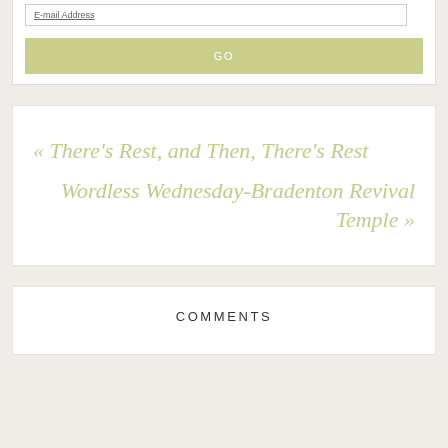E-mail Address
GO
« There's Rest, and Then, There's Rest
Wordless Wednesday-Bradenton Revival Temple »
COMMENTS